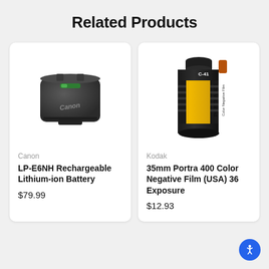Related Products
[Figure (photo): Canon LP-E6NH rechargeable lithium-ion battery, dark gray color with green indicator and Canon logo]
Canon
LP-E6NH Rechargeable Lithium-ion Battery
$79.99
[Figure (photo): Kodak Portra 400 Color Negative Film roll in cylindrical canister with yellow and black label, C-41 process, 36 exposures]
Kodak
35mm Portra 400 Color Negative Film (USA) 36 Exposure
$12.93